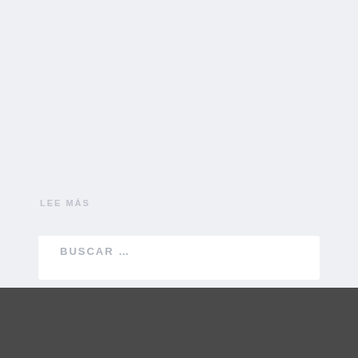Esta semana se celebra la Microsoft OneWeek nohathon, donde empleados de toda la compañía…
LEE MÁS
BUSCAR …
Usamos cookies en nuestro blog para ofrecerte la mejor experiencia recordando tus preferencias y visitas. Haciendo click en Aceptar todas, autorizas el uso de todas nuestras cookies. También puedes visitar Configuración de Cookies para aceptar sólo las que desees